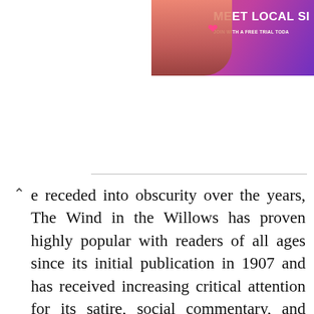[Figure (photo): Advertisement banner in top right corner showing a woman with text 'MEET LOCAL SI' and 'JOIN WITH A FREE TRIAL TODA' on a pink/purple gradient background]
...e receded into obscurity over the years, The Wind in the Willows has proven highly popular with readers of all ages since its initial publication in 1907 and has received increasing critical attention for its satire, social commentary, and treatment of rural life.
The Wind in the Willows. The modest literary success of Pagan Papers was eclipsed by the reception of The Golden Age and Dream Days, which were so successful both in England and America that the initial reception of The Wind in the